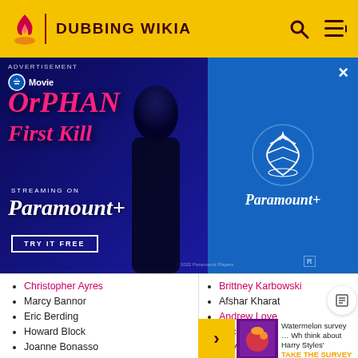DUBBING WIKIA
[Figure (photo): Advertisement banner for 'Orphan: First Kill' streaming on Paramount+. Dark blue background with movie title in pink/magenta stylized text on the left, a figure of a girl in black, and Paramount+ logo on the right side.]
Christopher Ayres
Marcy Bannor
Eric Berding
Howard Block
Joanne Bonasso
Jessica Boone
Gina Brazell
Elizabeth Byrd
Aly Calvo
Charles Campbell
Brittany Cofer
Brittney Karbowski
Afshar Kharat
Andrew Love
Eric Love
Dave Maldonado
George Manley
Watermelon survey … Wh think about Harry Styles' TAKE THE SURVEY HEI